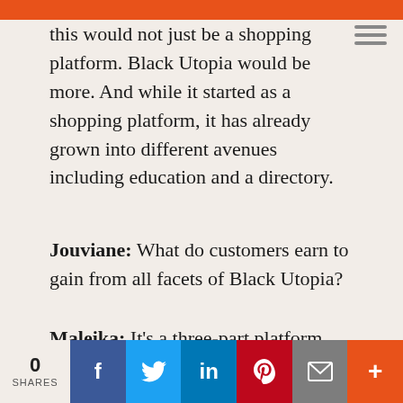this would not just be a shopping platform. Black Utopia would be more. And while it started as a shopping platform, it has already grown into different avenues including education and a directory.
Jouviane: What do customers earn to gain from all facets of Black Utopia?
Maleika: It's a three-part platform. When users come to Black Utopia, they have a choice of going to our shopping platform, education
0 SHARES | f | t | in | p | mail | +